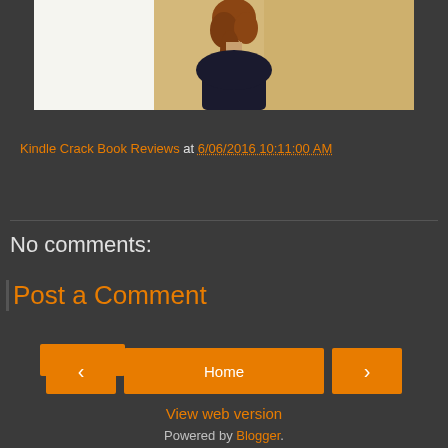[Figure (photo): Partial view of a person with reddish-brown hair seen from behind, against a warm outdoor background, with a white area on the left side of the image strip.]
Kindle Crack Book Reviews at 6/06/2016 10:11:00 AM
Share
No comments:
Post a Comment
‹  Home  ›
View web version
Powered by Blogger.